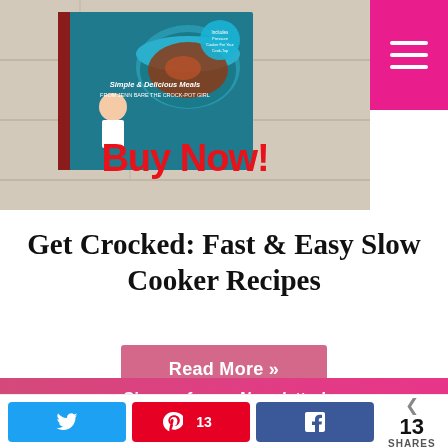[Figure (photo): Book cover for 'Get Crocked: Simple & Delicious Meals from Jenn Bare The Crock-Pot Girl' displayed on a wood surface background, with 'Buy Now!' text in red below it. A menu hamburger icon button in pink is in the top right corner.]
Get Crocked: Fast & Easy Slow Cooker Recipes
Read More »
Sign up for my Newsletter!
Get the best slow cooker recipes, tips & tricks right to your inbox!
< 13 SHARES